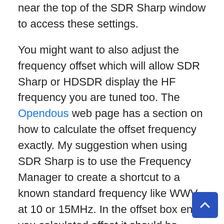near the top of the SDR Sharp window to access these settings.
You might want to also adjust the frequency offset which will allow SDR Sharp or HDSDR display the HF frequency you are tuned too. The Opendous web page has a section on how to calculate the offset frequency exactly. My suggestion when using SDR Sharp is to use the Frequency Manager to create a shortcut to a known standard frequency like WWV at 10 or 15MHz. In the offset box enter you calculated offset it should be something like -106,000,000. Save the shortcut. With SDR Sharp running double click on the shortcut in the frequency manager and you should land near your target frequency. If you are a little off, adjust the offset